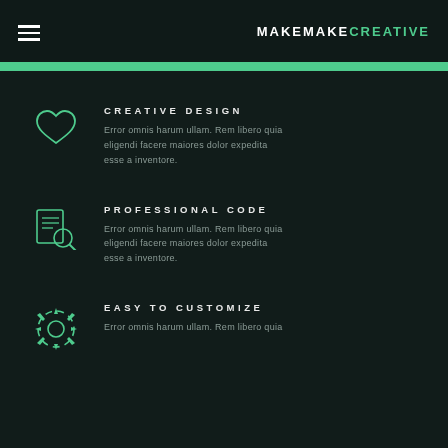MAKEMAKECREATIVE
CREATIVE DESIGN
Error omnis harum ullam. Rem libero quia eligendi facere maiores dolor expedita esse a inventore.
PROFESSIONAL CODE
Error omnis harum ullam. Rem libero quia eligendi facere maiores dolor expedita esse a inventore.
EASY TO CUSTOMIZE
Error omnis harum ullam. Rem libero quia